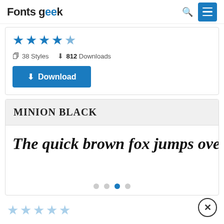Fonts geek
[Figure (other): Star rating: 4.5 out of 5 blue stars]
38 Styles   812 Downloads
Download
MINION BLACK
The quick brown fox jumps over the lazy d
[Figure (other): Carousel dots, third dot active]
[Figure (other): 5 light blue star rating icons]
[Figure (other): Close button (X in circle)]